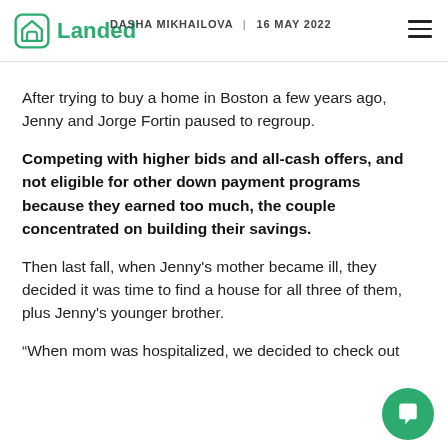Landed | DASHA MIKHAILOVA | 16 MAY 2022
After trying to buy a home in Boston a few years ago, Jenny and Jorge Fortin paused to regroup.
Competing with higher bids and all-cash offers, and not eligible for other down payment programs because they earned too much, the couple concentrated on building their savings.
Then last fall, when Jenny's mother became ill, they decided it was time to find a house for all three of them, plus Jenny's younger brother.
“When mom was hospitalized, we decided to check out